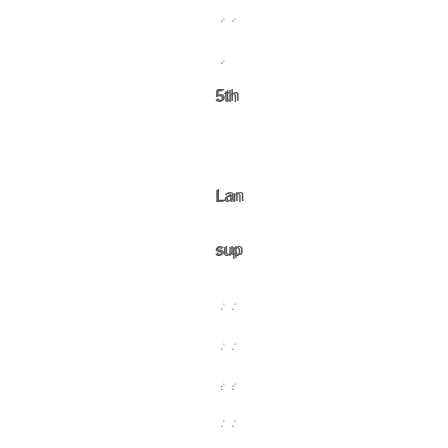. .
.
5th
Lan
sup
. .
. .
. .
. .
. .
46
lan
. .
. .
. .
. .